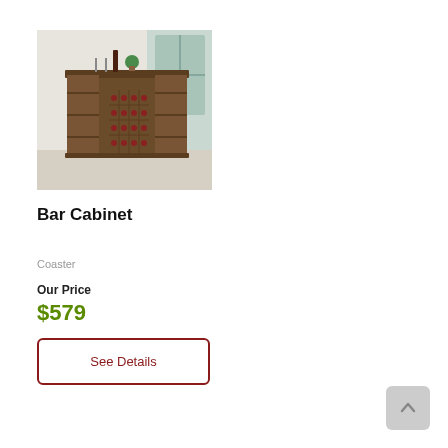[Figure (photo): Photo of a bar cabinet — wooden unit with wine rack, side shelves, and storage, displayed in a room with a large window. Wine bottles and glasses visible on top.]
Bar Cabinet
Coaster
Our Price
$579
See Details